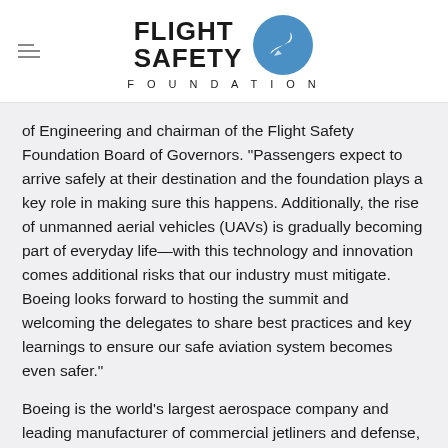[Figure (logo): Flight Safety Foundation logo with circular emblem and text]
of Engineering and chairman of the Flight Safety Foundation Board of Governors. “Passengers expect to arrive safely at their destination and the foundation plays a key role in making sure this happens. Additionally, the rise of unmanned aerial vehicles (UAVs) is gradually becoming part of everyday life—with this technology and innovation comes additional risks that our industry must mitigate. Boeing looks forward to hosting the summit and welcoming the delegates to share best practices and key learnings to ensure our safe aviation system becomes even safer.”
Boeing is the world’s largest aerospace company and leading manufacturer of commercial jetliners and defense, space and security systems. As America’s biggest